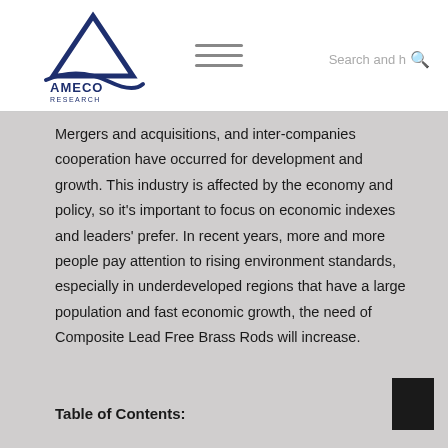AMECO RESEARCH [logo] [hamburger menu] Search and help
Mergers and acquisitions, and inter-companies cooperation have occurred for development and growth. This industry is affected by the economy and policy, so it's important to focus on economic indexes and leaders' prefer. In recent years, more and more people pay attention to rising environment standards, especially in underdeveloped regions that have a large population and fast economic growth, the need of Composite Lead Free Brass Rods will increase.
Table of Contents: